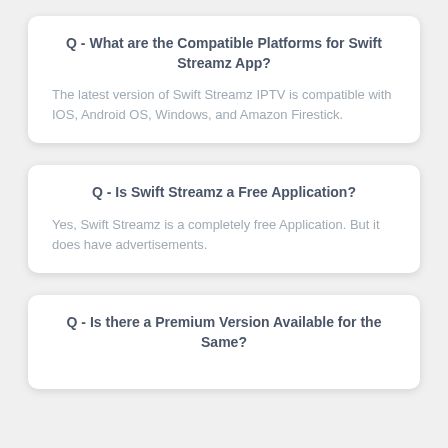Q - What are the Compatible Platforms for Swift Streamz App?
The latest version of Swift Streamz IPTV is compatible with IOS, Android OS, Windows, and Amazon Firestick.
Q - Is Swift Streamz a Free Application?
Yes, Swift Streamz is a completely free Application. But it does have advertisements.
Q - Is there a Premium Version Available for the Same?